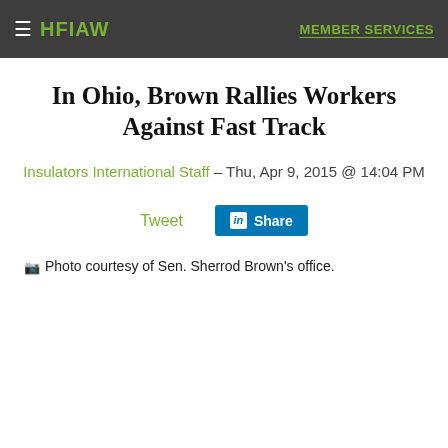HFIAW   MEMBER SERVICES
In Ohio, Brown Rallies Workers Against Fast Track
Insulators International Staff – Thu, Apr 9, 2015 @ 14:04 PM
Tweet   Share
Photo courtesy of Sen. Sherrod Brown's office.